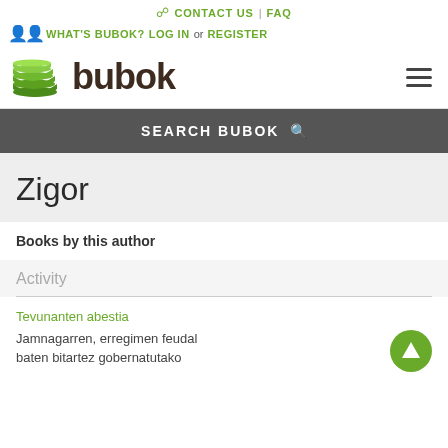CONTACT US | FAQ
WHAT'S BUBOK? LOG IN or REGISTER
[Figure (logo): Bubok logo with green stacked books icon and brown 'bubok' text]
SEARCH BUBOK
Zigor
Books by this author
Activity
Tevunanten abestia
Jamnagarren, erregimen feudal baten bitartez gobernatutako